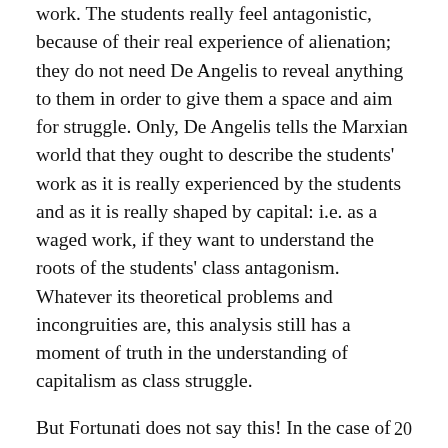work. The students really feel antagonistic, because of their real experience of alienation; they do not need De Angelis to reveal anything to them in order to give them a space and aim for struggle. Only, De Angelis tells the Marxian world that they ought to describe the students' work as it is really experienced by the students and as it is really shaped by capital: i.e. as a waged work, if they want to understand the roots of the students' class antagonism. Whatever its theoretical problems and incongruities are, this analysis still has a moment of truth in the understanding of capitalism as class struggle.
But Fortunati does not say this! In the case of housework she claims: capital has contrived to 'camouflage' the woman's work as a non-waged, non-productive, non-factory-like work 'to reduce the
20